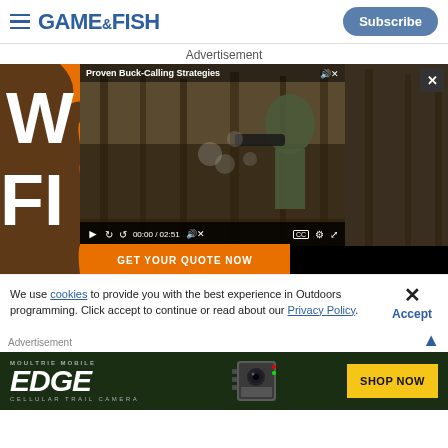GAME & FISH | Subscribe
Advertisement
[Figure (screenshot): Game & Fish website screenshot showing a video player overlay with 'Proven Buck-Calling Strategies' video (00:00 / 02:51), an orange/black advertisement banner with large white letters 'W' and 'FI', and a 'GET YOUR QUOTE NOW' orange bar at the bottom of the ad.]
We use cookies to provide you with the best experience in Outdoors programming. Click accept to continue or read about our Privacy Policy.
Advertisement
[Figure (screenshot): MOULTRIE MOBILE EDGE Cellular Trail Camera advertisement on a dark green background with a camera image in the center and a yellow 'SHOP NOW' button on the right.]